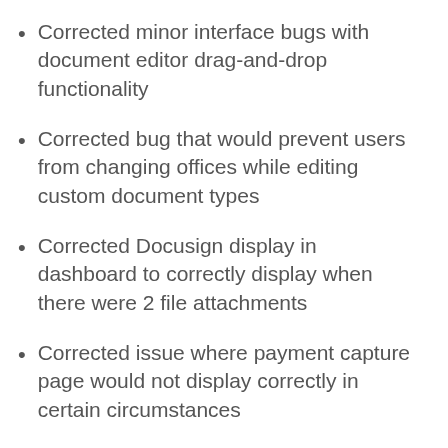Corrected minor interface bugs with document editor drag-and-drop functionality
Corrected bug that would prevent users from changing offices while editing custom document types
Corrected Docusign display in dashboard to correctly display when there were 2 file attachments
Corrected issue where payment capture page would not display correctly in certain circumstances
Corrected bug where two items that shared options were [Chat] ch deleted